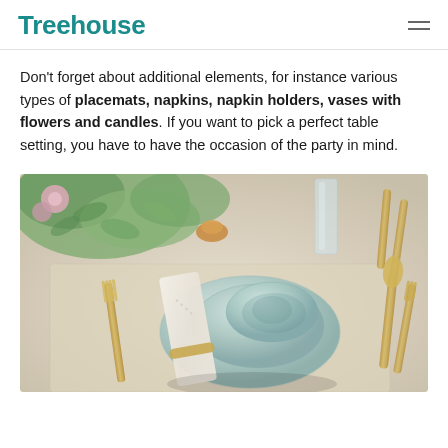Treehouse
Don't forget about additional elements, for instance various types of placemats, napkins, napkin holders, vases with flowers and candles. If you want to pick a perfect table setting, you have to have the occasion of the party in mind.
[Figure (photo): A styled table setting featuring light teal/sage colored plates and bowl stacked together with a folded white napkin tied with a gold band, gold cutlery (fork on left, spoon on right), a glass, eucalyptus greenery and flowers in the background, on a woven placemat.]